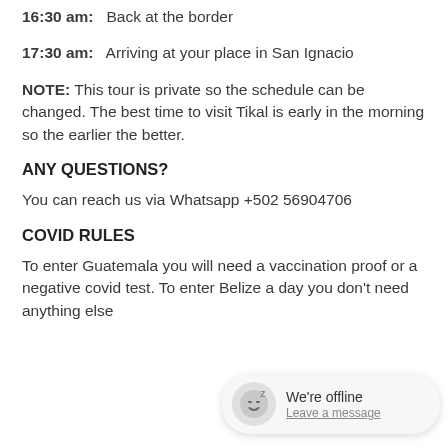16:30 am:  Back at the border
17:30 am:  Arriving at your place in San Ignacio
NOTE: This tour is private so the schedule can be changed. The best time to visit Tikal is early in the morning so the earlier the better.
ANY QUESTIONS?
You can reach us via Whatsapp +502 56904706
COVID RULES
To enter Guatemala you will need a vaccination proof or a negative covid test. To enter Belize a[obscured] day you don't need anything else[obscured]